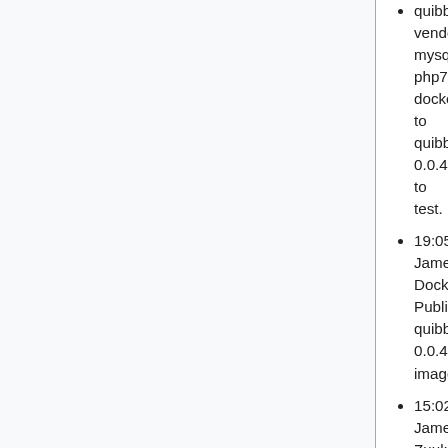quibble-vendor-mysql-php72-docker to quibble 0.0.43 to test.
19:05 James_F: Docker: Publishing quibble 0.0.43 images.
15:02 James_F: Zuul: Change pipeline trigger for train-deploy-notes job
14:36 James_F: Zuul: Install service pipeline for mediawiki/services/push-notifications T251901
2020-05-04
18:31 Krinkle: Un-stall beta cluster puppetmaster (100 patches behind due to merge conflict)
17:43 James_F: Shutting off integration-agent-puppet-docker-1001 in WMCS for T250502
17:41 James_F: Dropping integration-agent-puppet-docker-